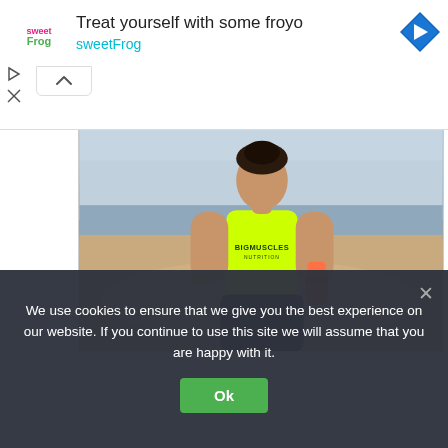[Figure (screenshot): Advertisement banner for sweetFrog frozen yogurt. Shows sweetFrog logo on left, headline 'Treat yourself with some froyo' and 'sweetFrog' in cyan text, and a blue diamond navigation icon on right.]
[Figure (photo): A muscular man wearing a neon yellow 'BIGMUSCLES' tank top and black shorts standing on a beach holding an orange protein shaker bottle. Background shows ocean and overcast sky.]
We use cookies to ensure that we give you the best experience on our website. If you continue to use this site we will assume that you are happy with it.